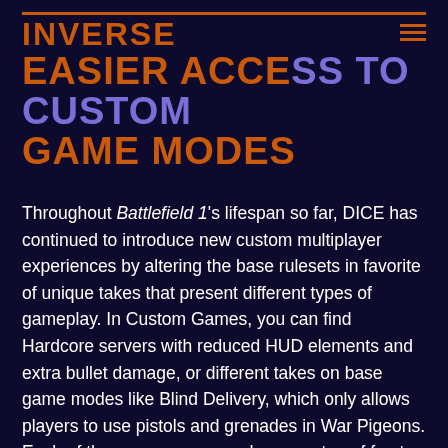INVERSE
EASIER ACCESS TO CUSTOM GAME MODES
Throughout Battlefield 1's lifespan so far, DICE has continued to introduce new custom multiplayer experiences by altering the base rulesets in favorite of unique takes that present different types of gameplay. In Custom Games, you can find Hardcore servers with reduced HUD elements and extra bullet damage, or different takes on base game modes like Blind Delivery, which only allows players to use pistols and grenades in War Pigeons. Each of these new game modes are a ton of fun to play, but can only be found on unofficial servers from the server rental program.